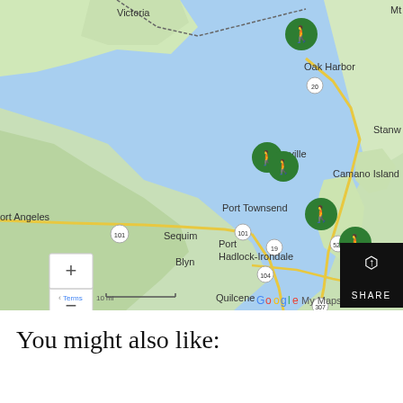[Figure (map): Google My Maps showing the Puget Sound / Strait of Juan de Fuca area with hiking markers near Oak Harbor, Coupeville/Camano Island, Port Townsend, Port Hadlock-Irondale, and Whidbey Island. Locations visible include Victoria, Oak Harbor, Stanwood, Port Angeles, Sequim, Blyn, Port Townsend, Port Hadlock-Irondale, Quilcene, and others. Map has zoom controls and a SHARE button.]
You might also like: